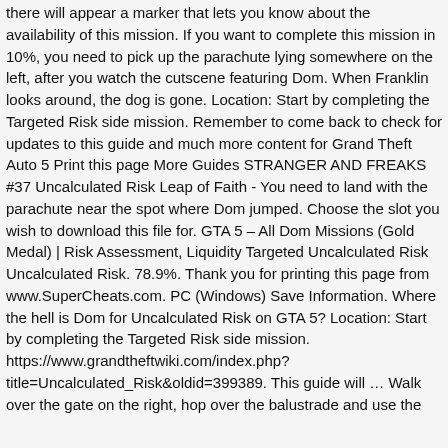there will appear a marker that lets you know about the availability of this mission. If you want to complete this mission in 10%, you need to pick up the parachute lying somewhere on the left, after you watch the cutscene featuring Dom. When Franklin looks around, the dog is gone. Location: Start by completing the Targeted Risk side mission. Remember to come back to check for updates to this guide and much more content for Grand Theft Auto 5 Print this page More Guides STRANGER AND FREAKS #37 Uncalculated Risk Leap of Faith - You need to land with the parachute near the spot where Dom jumped. Choose the slot you wish to download this file for. GTA 5 – All Dom Missions (Gold Medal) | Risk Assessment, Liquidity Targeted Uncalculated Risk Uncalculated Risk. 78.9%. Thank you for printing this page from www.SuperCheats.com. PC (Windows) Save Information. Where the hell is Dom for Uncalculated Risk on GTA 5? Location: Start by completing the Targeted Risk side mission. https://www.grandtheftwiki.com/index.php?title=Uncalculated_Risk&oldid=399389. This guide will … Walk over the gate on the right, hop over the balustrade and use the